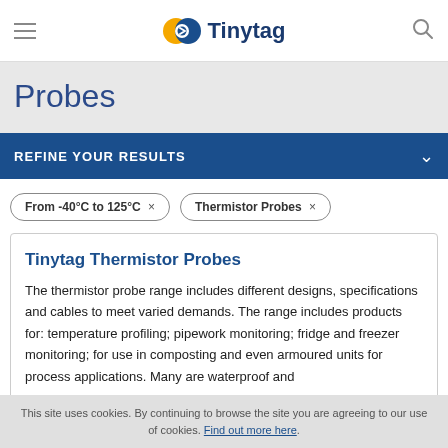Tinytag
Probes
REFINE YOUR RESULTS
From -40°C to 125°C ×
Thermistor Probes ×
Tinytag Thermistor Probes
The thermistor probe range includes different designs, specifications and cables to meet varied demands. The range includes products for: temperature profiling; pipework monitoring; fridge and freezer monitoring; for use in composting and even armoured units for process applications. Many are waterproof and
This site uses cookies. By continuing to browse the site you are agreeing to our use of cookies. Find out more here.